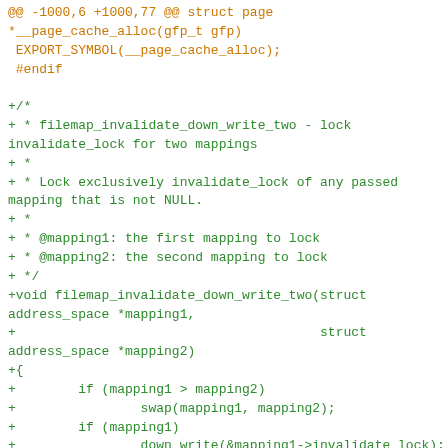Source code diff showing filemap_invalidate_down_write_two function addition in C kernel code